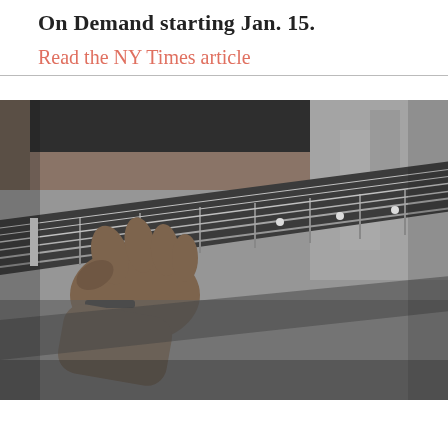On Demand starting Jan. 15.
Read the NY Times article
[Figure (photo): Black and white close-up photograph of a person's hand playing an acoustic guitar, fretting chords on the neck. A laptop or monitor screen is partially visible in the background. The image is slightly out of focus with a shallow depth of field.]